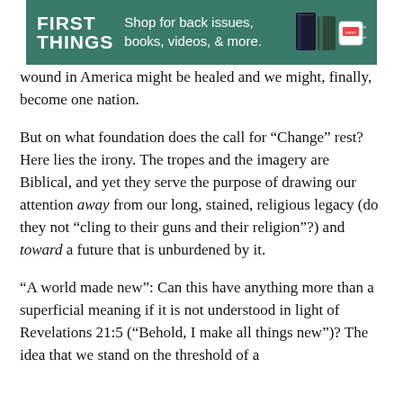[Figure (other): First Things advertisement banner: green background with white 'FIRST THINGS' logo text, 'Shop for back issues, books, videos, & more.' tagline, and images of books and a mug on the right.]
wound in America might be healed and we might, finally, become one nation.
But on what foundation does the call for “Change” rest? Here lies the irony. The tropes and the imagery are Biblical, and yet they serve the purpose of drawing our attention away from our long, stained, religious legacy (do they not “cling to their guns and their religion”?) and toward a future that is unburdened by it.
“A world made new”: Can this have anything more than a superficial meaning if it is not understood in light of Revelations 21:5 (“Behold, I make all things new”)? The idea that we stand on the threshold of a